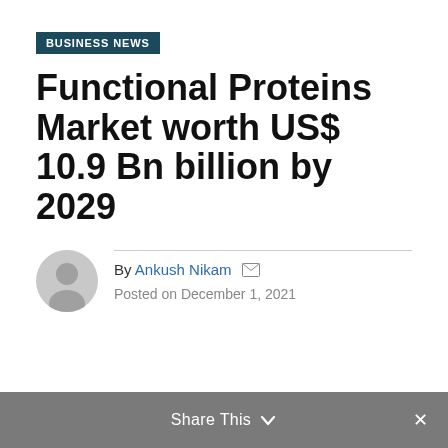BUSINESS NEWS
Functional Proteins Market worth US$ 10.9 Bn billion by 2029
By Ankush Nikam  Posted on December 1, 2021
Share This